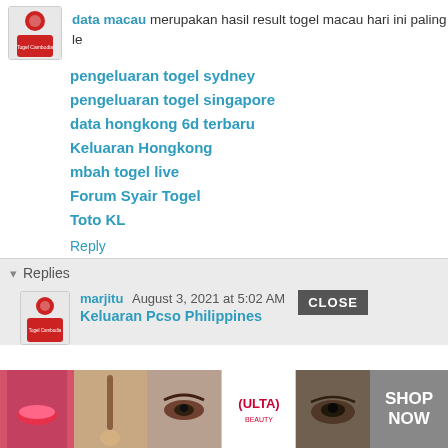data macau merupakan hasil result togel macau hari ini paling le...
pengeluaran togel sydney
pengeluaran togel singapore
data hongkong 6d terbaru
Keluaran Hongkong
mbah togel live
Forum Syair Togel
Toto KL
Reply
▾ Replies
marjitu August 3, 2021 at 5:02 AM
Keluaran Pcso Philippines
[Figure (photo): Advertisement banner with beauty/makeup photos and ULTA beauty logo with SHOP NOW button]